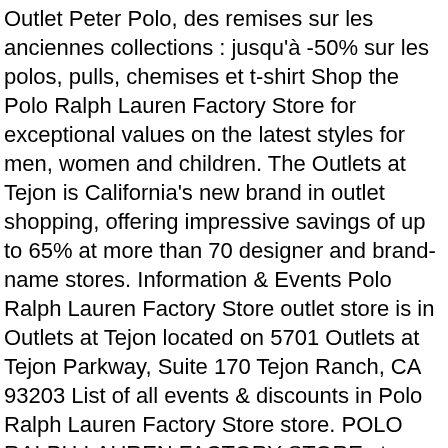Outlet Peter Polo, des remises sur les anciennes collections : jusqu'à -50% sur les polos, pulls, chemises et t-shirt Shop the Polo Ralph Lauren Factory Store for exceptional values on the latest styles for men, women and children. The Outlets at Tejon is California's new brand in outlet shopping, offering impressive savings of up to 65% at more than 70 designer and brand-name stores. Information & Events Polo Ralph Lauren Factory Store outlet store is in Outlets at Tejon located on 5701 Outlets at Tejon Parkway, Suite 170 Tejon Ranch, CA 93203 List of all events & discounts in Polo Ralph Lauren Factory Store store. POLO RALPH LAUREN FACTORY STORE store locator and map, gps. Lieferung an Abholstation . Marc O'Polo im Online Outlet für Damen günstig kaufen. contact_support. Le polo de sport est typiquement un modèle à manches courtes dont la composition laisse passer l'air, protège des UV et sèche rapidement. Nur für kurze Zeit: SALE SPECIAL! From classic styles and the latest fashion trends, to must-have accessories and home goods, stake your claim on the brands you crave â€¦ at prices you canâ€™t imagine. BACK Country United States Canada Find a Factory